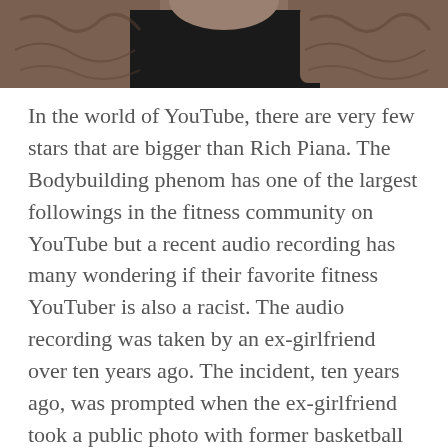[Figure (photo): Partial photo of a heavily tattooed muscular person wearing a black shirt, cropped at shoulder/chest level, visible at the top of the page.]
In the world of YouTube, there are very few stars that are bigger than Rich Piana. The Bodybuilding phenom has one of the largest followings in the fitness community on YouTube but a recent audio recording has many wondering if their favorite fitness YouTuber is also a racist. The audio recording was taken by an ex-girlfriend over ten years ago. The incident, ten years ago, was prompted when the ex-girlfriend took a public photo with former basketball star Magic Johnson. Piana was incensed because his girlfriend was seen in public with a “N-word” and allowed Magic Johnson to kiss her on the cheek. Piana suggested that his ex-girlfriend was a “Dirty f-ing N-word-lover”. In the audio, he adds a lynching reference suggesting that she should be hung from a rope. Piana was never